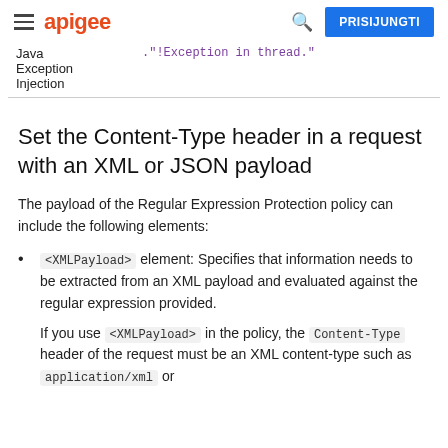apigee | PRISIJUNGTI
| Java Exception Injection | ...!Exception in thread." |
Set the Content-Type header in a request with an XML or JSON payload
The payload of the Regular Expression Protection policy can include the following elements:
<XMLPayload> element: Specifies that information needs to be extracted from an XML payload and evaluated against the regular expression provided.
If you use <XMLPayload> in the policy, the Content-Type header of the request must be an XML content-type such as application/xml or